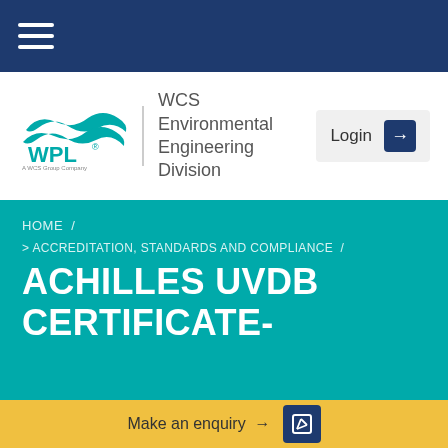[Figure (screenshot): Top navy navigation bar with hamburger menu icon (three white horizontal lines)]
[Figure (logo): WPL logo with teal wave graphic and text 'WCS Environmental Engineering Division', plus a Login button with navy arrow box on the right]
HOME / > ACCREDITATION, STANDARDS AND COMPLIANCE /
ACHILLES UVDB CERTIFICATE-
Make an enquiry →